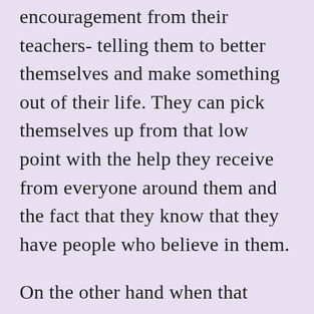encouragement from their teachers- telling them to better themselves and make something out of their life. They can pick themselves up from that low point with the help they receive from everyone around them and the fact that they know that they have people who believe in them.
On the other hand when that Black student does the same- that's it for them. They fall and hit the ground and are left there. The fact that many Black students have parents who never pursued an education doesn't help either. So it makes sense that the young Black...